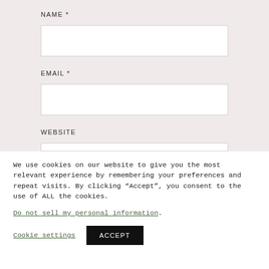NAME *
[Figure (screenshot): Empty text input field for Name]
EMAIL *
[Figure (screenshot): Empty text input field for Email]
WEBSITE
We use cookies on our website to give you the most relevant experience by remembering your preferences and repeat visits. By clicking “Accept”, you consent to the use of ALL the cookies.
Do not sell my personal information.
Cookie settings
ACCEPT